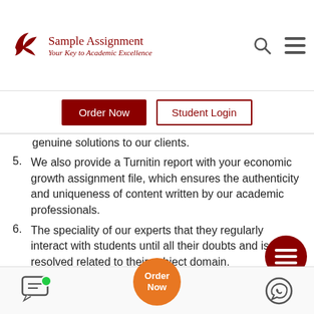[Figure (logo): Sample Assignment logo with bird icon, text 'Sample Assignment' and tagline 'Your Key to Academic Excellence']
Order Now  Student Login
genuine solutions to our clients.
5. We also provide a Turnitin report with your economic growth assignment file, which ensures the authenticity and uniqueness of content written by our academic professionals.
6. The speciality of our experts that they regularly interact with students until all their doubts and issues resolved related to their subject domain.
Avail of Economics Assignment Help from experienced subject matter experts to accomplish your targets and excel grades in class. The offer